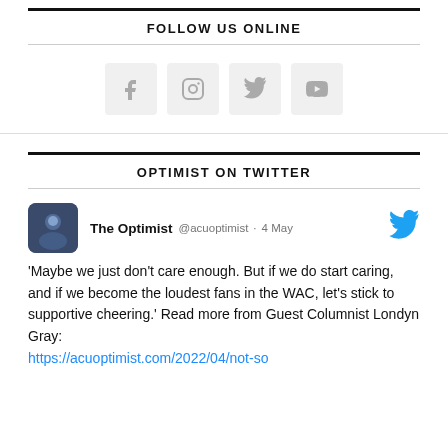FOLLOW US ONLINE
[Figure (illustration): Four social media icon buttons in light gray rounded square boxes: Facebook (f), Instagram (camera), Twitter (bird), YouTube (play triangle)]
OPTIMIST ON TWITTER
The Optimist @acuoptimist · 4 May
'Maybe we just don't care enough. But if we do start caring, and if we become the loudest fans in the WAC, let's stick to supportive cheering.' Read more from Guest Columnist Londyn Gray:
https://acuoptimist.com/2022/04/not-so